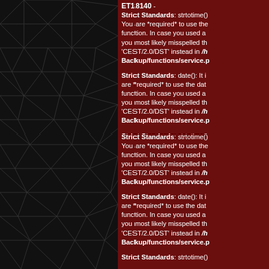[Figure (illustration): Black background with dark gray geometric triangular mesh/wireframe pattern on the left panel]
ET18140 - Strict Standards: strtotime(): You are *required* to use the date_create function. In case you used an alias, you most likely misspelled the identifier, try 'CEST/2.0/DST' instead in /h... Backup/functions/service.p...
Strict Standards: date(): It is are *required* to use the date_create function. In case you used an alias, you most likely misspelled the identifier, try 'CEST/2.0/DST' instead in /h... Backup/functions/service.p...
Strict Standards: strtotime(): You are *required* to use the date_create function. In case you used an alias, you most likely misspelled the identifier, try 'CEST/2.0/DST' instead in /h... Backup/functions/service.p...
Strict Standards: date(): It is are *required* to use the date_create function. In case you used an alias, you most likely misspelled the identifier, try 'CEST/2.0/DST' instead in /h... Backup/functions/service.p...
Strict Standards: strtotime()...